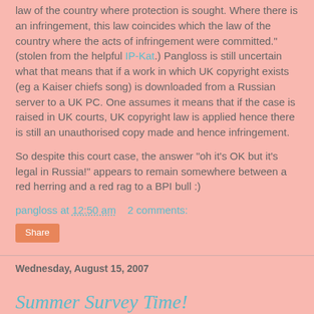law of the country where protection is sought. Where there is an infringement, this law coincides which the law of the country where the acts of infringement were committed." (stolen from the helpful IP-Kat.) Pangloss is still uncertain what that means that if a work in which UK copyright exists (eg a Kaiser chiefs song) is downloaded from a Russian server to a UK PC. One assumes it means that if the case is raised in UK courts, UK copyright law is applied hence there is still an unauthorised copy made and hence infringement.
So despite this court case, the answer "oh it's OK but it's legal in Russia!" appears to remain somewhere between a red herring and a red rag to a BPI bull :)
pangloss at 12:50 am   2 comments:
Share
Wednesday, August 15, 2007
Summer Survey Time!